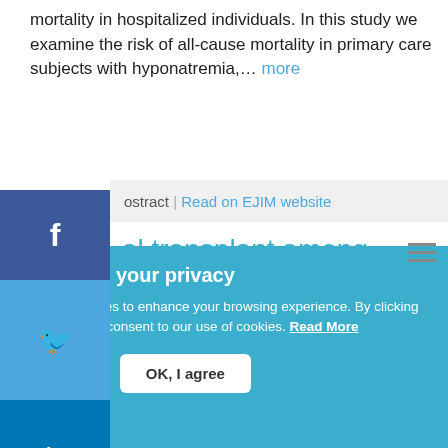mortality in hospitalized individuals. In this study we examine the risk of all-cause mortality in primary care subjects with hyponatremia,… more
ostract | Read on EJIM website
al transplant among type 1 and e 2 diabetes patients in Spain: A ulation-based study from 2002 to 3
We value your privacy
We use cookies to enhance your browsing experience. By clicking "accept", you consent to our use of cookies. Read More
No, thanks   OK, I agree